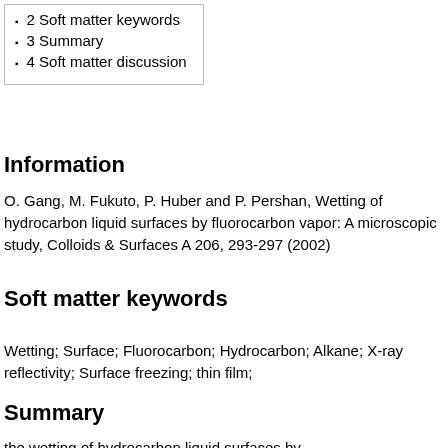2 Soft matter keywords
3 Summary
4 Soft matter discussion
Information
O. Gang, M. Fukuto, P. Huber and P. Pershan, Wetting of hydrocarbon liquid surfaces by fluorocarbon vapor: A microscopic study, Colloids & Surfaces A 206, 293-297 (2002)
Soft matter keywords
Wetting; Surface; Fluorocarbon; Hydrocarbon; Alkane; X-ray reflectivity; Surface freezing; thin film;
Summary
the wetting of hydrocarbon liquid surfaces by